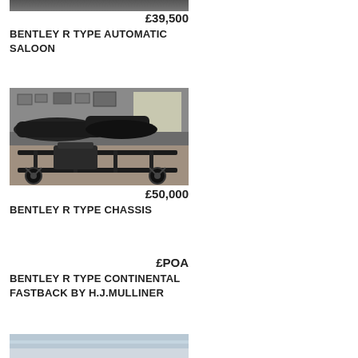[Figure (photo): Top portion of a classic car photo, partially visible at top of page]
£39,500
BENTLEY R TYPE AUTOMATIC SALOON
[Figure (photo): Garage interior showing classic Bentley cars and a bare chassis (rolling chassis with engine visible) in foreground on a wooden floor]
£50,000
BENTLEY R TYPE CHASSIS
£POA
BENTLEY R TYPE CONTINENTAL FASTBACK BY H.J.MULLINER
[Figure (photo): Partial photo visible at bottom of page, appears to show sky and landscape]